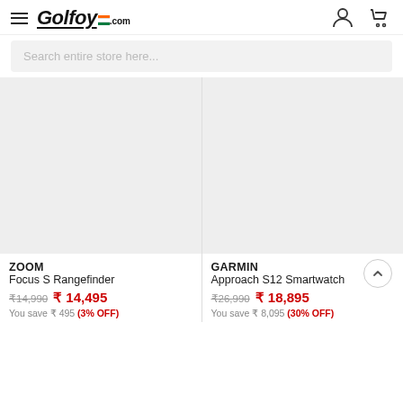Golfoy.com — navigation header with hamburger menu, logo, user icon, and cart icon
Search entire store here...
[Figure (photo): Gray placeholder image for Zoom Focus S Rangefinder product]
[Figure (photo): Gray placeholder image for Garmin Approach S12 Smartwatch product]
ZOOM
Focus S Rangefinder
₹14,990  ₹ 14,495
You save ₹ 495 (3% OFF)
GARMIN
Approach S12 Smartwatch
₹26,990  ₹ 18,895
You save ₹ 8,095 (30% OFF)